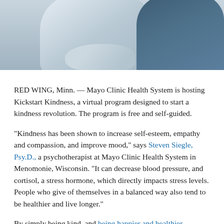[Figure (photo): Photo of two people sitting close together, one wearing a light blue/gray top, showing arms and hands. The other person is wearing a dark blue top. The image is cropped showing only the upper torso and arms area.]
RED WING, Minn. — Mayo Clinic Health System is hosting Kickstart Kindness, a virtual program designed to start a kindness revolution. The program is free and self-guided.
"Kindness has been shown to increase self-esteem, empathy and compassion, and improve mood," says Steven Siegle, Psy.D., a psychotherapist at Mayo Clinic Health System in Menomonie, Wisconsin. "It can decrease blood pressure, and cortisol, a stress hormone, which directly impacts stress levels. People who give of themselves in a balanced way also tend to be healthier and live longer."
By simply being kind, and being happier and healthier